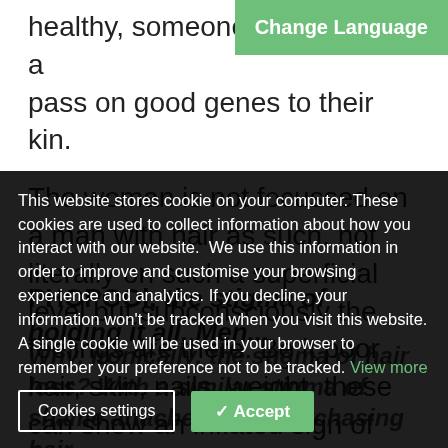healthy, someone who will be able to pass on good genes to their kin.
The woman is not focussed on a man with hair as such, not literally on such a superficial level but subconsciously the feelings are there. Be it poor hair, skin, nails, weight, these can show an inflated sign of our age and wellbeing and although hair loss is not actually related to age or health in cases of MPB it can be seen as part of the aging process and in turn long-
PHOPOOl, the stigma of holding it all. Men...
Why, ironically, the stigma of hair loss? With a similar stigma of shame attached to it. Purchasing hair...
This website stores cookie on your computer. These cookies are used to collect information about how you interact with our website.  We use this information in order to improve and customise your browsing experience and analytics. If you decline, your information won't be tracked when you visit this website. A single cookie will be used in your browser to remember your preference not to be tracked. View more